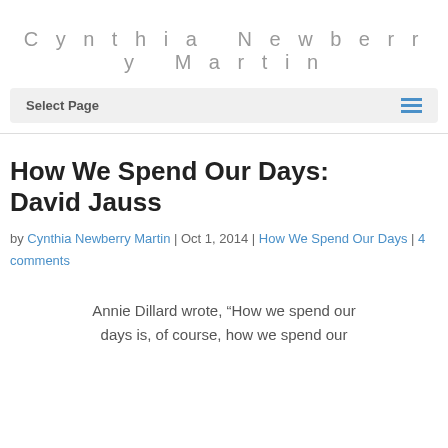Cynthia Newberry Martin
Select Page
How We Spend Our Days: David Jauss
by Cynthia Newberry Martin | Oct 1, 2014 | How We Spend Our Days | 4 comments
Annie Dillard wrote, “How we spend our days is, of course, how we spend our